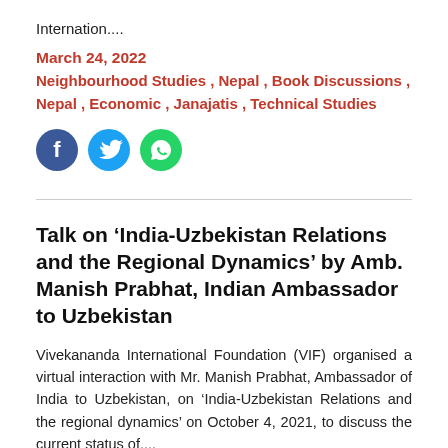Internation....
March 24, 2022
Neighbourhood Studies , Nepal , Book Discussions , Nepal , Economic , Janajatis , Technical Studies
[Figure (other): Social media share icons: Facebook (blue circle with f), Twitter (light blue circle with bird), WhatsApp (green circle with phone)]
Talk on ‘India-Uzbekistan Relations and the Regional Dynamics’ by Amb. Manish Prabhat, Indian Ambassador to Uzbekistan
Vivekananda International Foundation (VIF) organised a virtual interaction with Mr. Manish Prabhat, Ambassador of India to Uzbekistan, on ‘India-Uzbekistan Relations and the regional dynamics’ on October 4, 2021, to discuss the current status of....